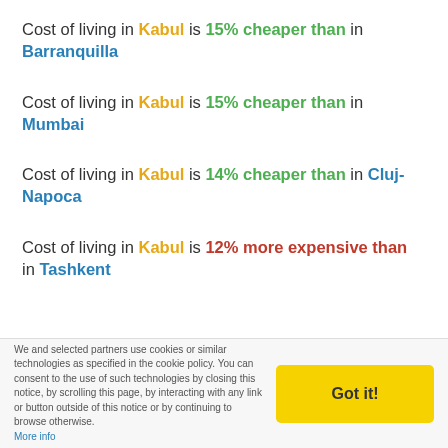Cost of living in Kabul is 15% cheaper than in Barranquilla
Cost of living in Kabul is 15% cheaper than in Mumbai
Cost of living in Kabul is 14% cheaper than in Cluj-Napoca
Cost of living in Kabul is 12% more expensive than in Tashkent
We and selected partners use cookies or similar technologies as specified in the cookie policy. You can consent to the use of such technologies by closing this notice, by scrolling this page, by interacting with any link or button outside of this notice or by continuing to browse otherwise. More info